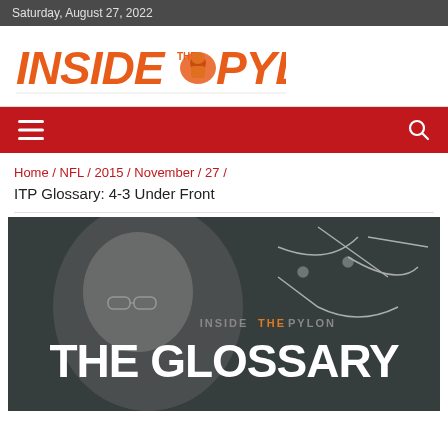Saturday, August 27, 2022
[Figure (logo): Inside The Pylon logo with orange text and football player illustration]
[Figure (infographic): Red navigation bar with hamburger menu icon and search icon]
Home / NFL / 2015 / November / 27 / ITP Glossary: 4-3 Under Front
[Figure (photo): The Glossary header image with black and white photo of a coach and overlaid text reading INSIDE THE PYLON THE GLOSSARY]